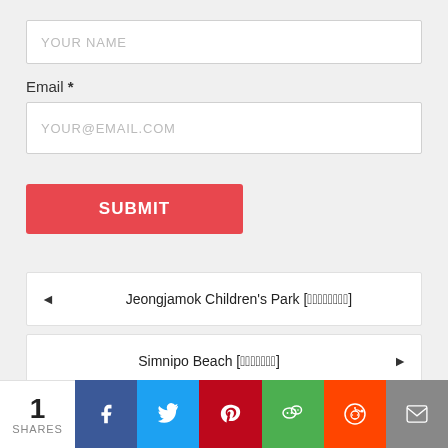YOUR NAME (input placeholder)
Email *
YOUR@EMAIL.COM (input placeholder)
SUBMIT
◄  Jeongjamok Children's Park [정자막어린이공원]
Simnipo Beach [심니포해수욕장]  ►
1 SHARES